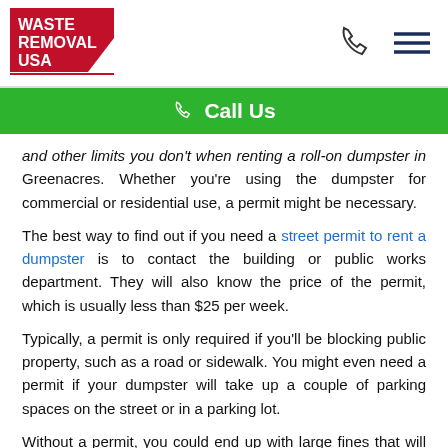Waste Removal USA — navigation header with logo, phone icon, and menu icon
Call Us
and other limits you don't when renting a roll-on dumpster in Greenacres. Whether you're using the dumpster for commercial or residential use, a permit might be necessary.
The best way to find out if you need a street permit to rent a dumpster is to contact the building or public works department. They will also know the price of the permit, which is usually less than $25 per week.
Typically, a permit is only required if you'll be blocking public property, such as a road or sidewalk. You might even need a permit if your dumpster will take up a couple of parking spaces on the street or in a parking lot.
Without a permit, you could end up with large fines that will add up very fast. It's also a good idea to check with your homeowners' association. Your HOA might require a permit or notice of a dumpster being placed on your property.